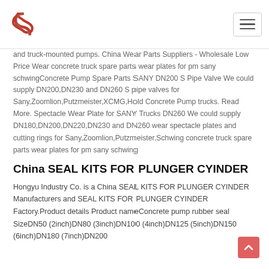Logo and navigation header
and truck-mounted pumps. China Wear Parts Suppliers - Wholesale Low Price Wear concrete truck spare parts wear plates for pm sany schwingConcrete Pump Spare Parts SANY DN200 S Pipe Valve We could supply DN200,DN230 and DN260 S pipe valves for Sany,Zoomlion,Putzmeister,XCMG,Hold Concrete Pump trucks. Read More. Spectacle Wear Plate for SANY Trucks DN260 We could supply DN180,DN200,DN220,DN230 and DN260 wear spectacle plates and cutting rings for Sany,Zoomlion,Putzmeister,Schwing concrete truck spare parts wear plates for pm sany schwing
China SEAL KITS FOR PLUNGER CYINDER
Hongyu Industry Co. is a China SEAL KITS FOR PLUNGER CYINDER Manufacturers and SEAL KITS FOR PLUNGER CYINDER Factory.Product details Product nameConcrete pump rubber seal SizeDN50 (2inch)DN80 (3inch)DN100 (4inch)DN125 (5inch)DN150 (6inch)DN180 (7inch)DN200